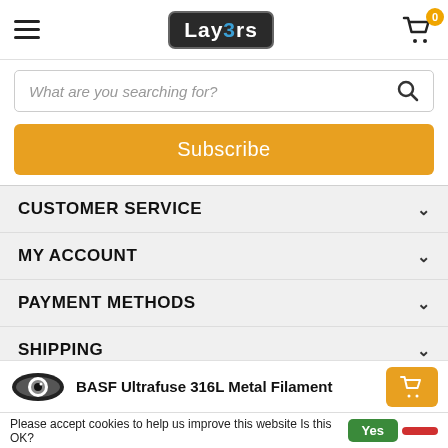[Figure (logo): Lay3rs logo with stylized 3 in blue, white text on dark rounded rectangle]
What are you searching for?
Subscribe
CUSTOMER SERVICE
MY ACCOUNT
PAYMENT METHODS
SHIPPING
SOCIAL MEDIA
CONTACT
BASF Ultrafuse 316L Metal Filament
Please accept cookies to help us improve this website Is this OK?